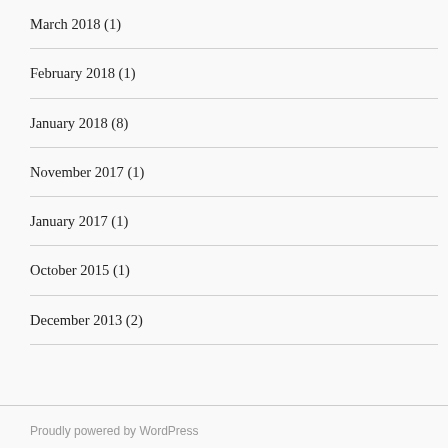March 2018 (1)
February 2018 (1)
January 2018 (8)
November 2017 (1)
January 2017 (1)
October 2015 (1)
December 2013 (2)
Proudly powered by WordPress